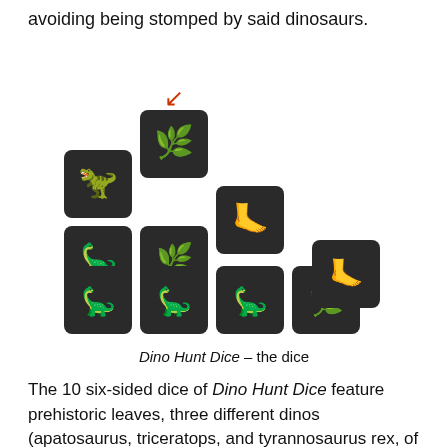avoiding being stomped by said dinosaurs.
[Figure (photo): Photo of 10 dark dice with dinosaur-themed symbols (leaves, dinosaurs, footprints) in red, yellow, and green colors, arranged in a staircase pattern.]
Dino Hunt Dice – the dice
The 10 six-sided dice of Dino Hunt Dice feature prehistoric leaves, three different dinos (apatosaurus, triceratops, and tyrannosaurus rex, of course), and three corresponding stomp footprints. Roll a dinosaur picture, and you caught one! When you get a leaf picture, the dino is hiding. A footprint means you've been STOMPED! Don't...